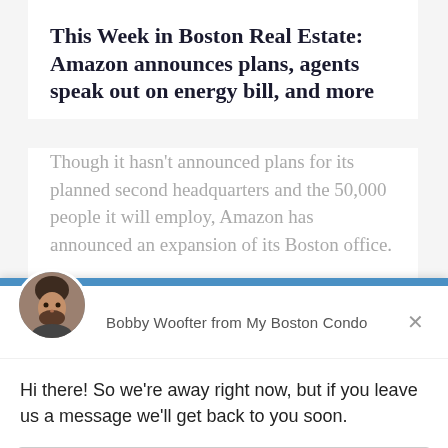This Week in Boston Real Estate: Amazon announces plans, agents speak out on energy bill, and more
Though it hasn't announced plans for its planned second headquarters and the 50,000 people it will employ, Amazon has announced an expansion of its Boston office.
Bobby Woofter from My Boston Condo
Hi there! So we're away right now, but if you leave us a message we'll get back to you soon.
Reply to Bobby Woofter
Chat ⚡ by Drift